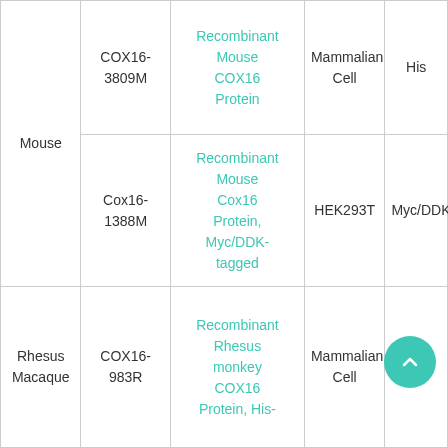| Species | Cat# | Product Name | Expression System | Tag |
| --- | --- | --- | --- | --- |
| Mouse | COX16-3809M | Recombinant Mouse COX16 Protein | Mammalian Cell | His |
| Mouse | Cox16-1388M | Recombinant Mouse Cox16 Protein, Myc/DDK-tagged | HEK293T | Myc/DDK |
| Rhesus Macaque | COX16-983R | Recombinant Rhesus monkey COX16 Protein, His- | Mammalian Cell | His |